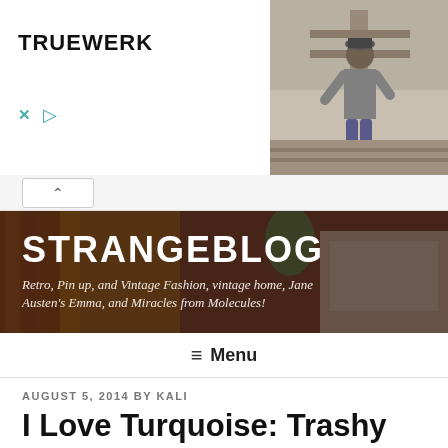[Figure (screenshot): Advertisement banner for TRUEWERK with logo on left and photo of man on right]
[Figure (screenshot): Collapse/hide advertisement button with upward caret]
[Figure (photo): STRANGEBLOG header banner with dark overlay showing woman in purple dress and fireplace interior]
STRANGEBLOG
Retro, Pin up, and Vintage Fashion, vintage home, Jane Austen's Emma, and Miracles from Molecules!
≡ Menu
AUGUST 5, 2014 BY KALI
I Love Turquoise: Trashy Diva Maria and Deb dresses